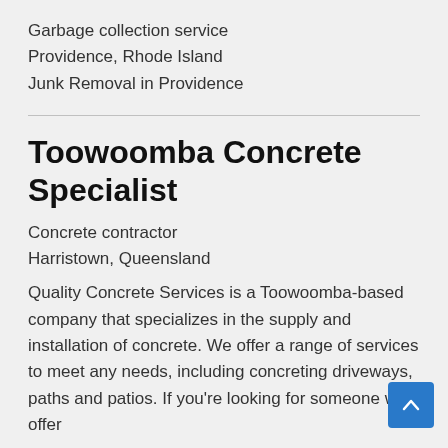Garbage collection service
Providence, Rhode Island
Junk Removal in Providence
Toowoomba Concrete Specialist
Concrete contractor
Harristown, Queensland
Quality Concrete Services is a Toowoomba-based company that specializes in the supply and installation of concrete. We offer a range of services to meet any needs, including concreting driveways, paths and patios. If you're looking for someone who offer